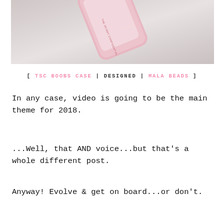[Figure (photo): Photo of a pink phone case (The Skinny Confidential branded) on a light grey/white surface, viewed from above at an angle.]
[ TSC BOOBS CASE | DESIGNED | MALA BEADS ]
In any case, video is going to be the main theme for 2018.
...Well, that AND voice...but that’s a whole different post.
Anyway! Evolve & get on board...or don’t.